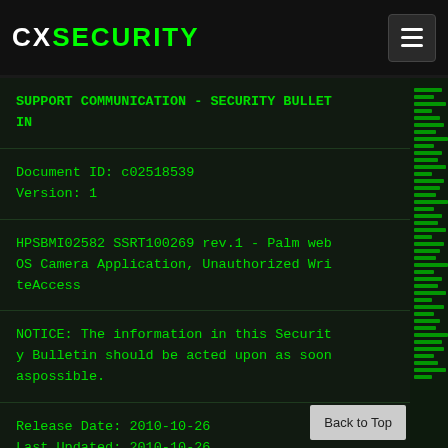CXSECURITY
SUPPORT COMMUNICATION - SECURITY BULLETIN
Document ID: c02518539
Version: 1
HPSBMI02582 SSRT100269 rev.1 - Palm webOS Camera Application, Unauthorized WriteAccess
NOTICE: The information in this Security Bulletin should be acted upon as soon aspossible.
Release Date: 2010-10-26
Last Updated: 2010-10-26